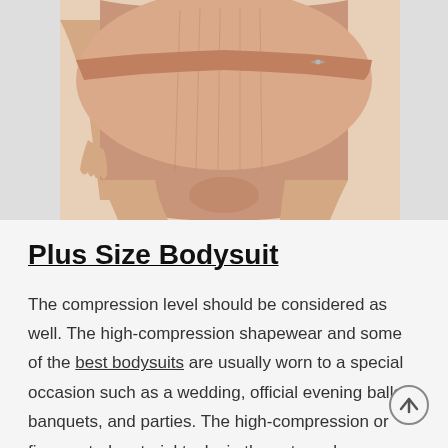[Figure (photo): Close-up photo of a person wearing a nude/beige plus size bodysuit/shapewear, showing the torso and upper thigh area against a light background]
Plus Size Bodysuit
The compression level should be considered as well. The high-compression shapewear and some of the best bodysuits are usually worn to a special occasion such as a wedding, official evening balls, banquets, and parties. The high-compression or firm control material tucks in the extra volume,